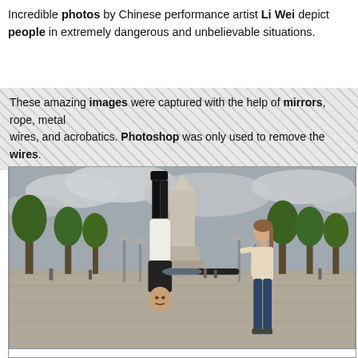Incredible photos by Chinese performance artist Li Wei depict people in extremely dangerous and unbelievable situations.
These amazing images were captured with the help of mirrors, rope, metal wires, and acrobatics. Photoshop was only used to remove the wires.
[Figure (photo): A man dressed in black top and white pants is shown upside-down in mid-air, appearing to be held by a woman standing nearby in a public plaza with trees, lamp posts, and a monument in the background under a cloudy sky.]